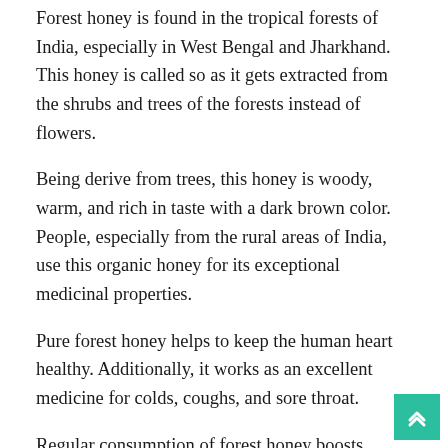Forest honey is found in the tropical forests of India, especially in West Bengal and Jharkhand. This honey is called so as it gets extracted from the shrubs and trees of the forests instead of flowers.
Being derive from trees, this honey is woody, warm, and rich in taste with a dark brown color. People, especially from the rural areas of India, use this organic honey for its exceptional medicinal properties.
Pure forest honey helps to keep the human heart healthy. Additionally, it works as an excellent medicine for colds, coughs, and sore throat.
Regular consumption of forest honey boosts immunity, protects against respiratory diseases, keeps skin and hair healthy and glowing, and prevents infections.
Beechwood Honey: